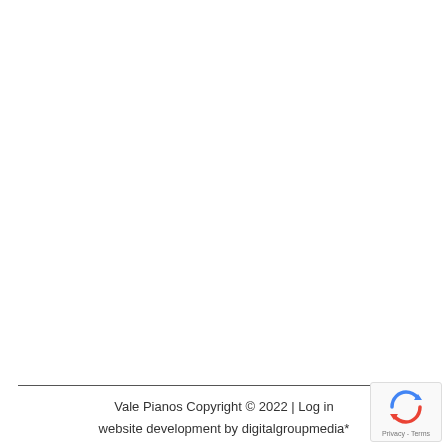Vale Pianos Copyright © 2022 | Log in
website development by digitalgroupmedia*